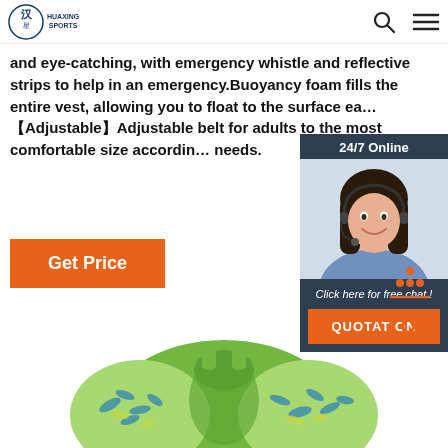HUAXING SPORTS
and eye-catching, with emergency whistle and reflective strips to help in an emergency.Buoyancy foam fills the entire vest, allowing you to float to the surface easily.【Adjustable】Adjustable belt for adults to the most comfortable size according needs.
Get Price
[Figure (photo): 24/7 Online chat widget with a smiling female customer service agent wearing headset, with 'Click here for free chat!' text and QUOTATION button]
[Figure (other): TOP button with orange arrow/dot design pointing upward]
[Figure (photo): Product photo showing a life vest/buoyancy aid with green and blue floral pattern]